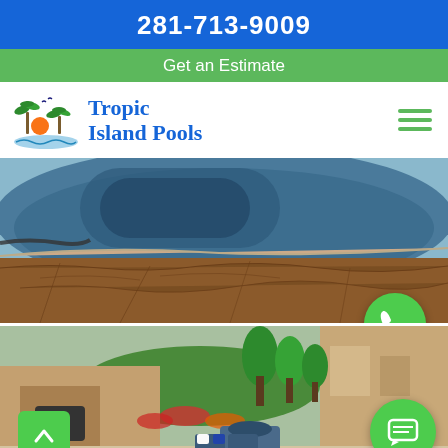281-713-9009
Get an Estimate
[Figure (logo): Tropic Island Pools logo with palm trees and sunset, brand name in blue]
[Figure (photo): Aerial view of a dark water residential swimming pool with stamped concrete surround]
[Figure (photo): Aerial view of a luxury backyard patio with outdoor seating, landscaping, stone fireplace, and pool edge]